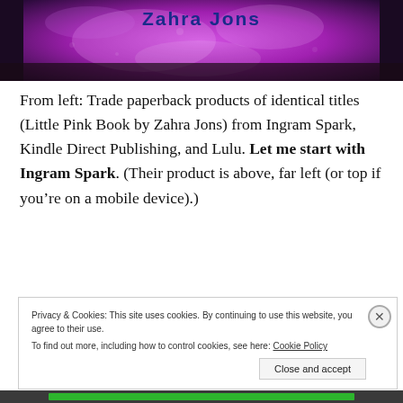[Figure (photo): Top portion of a photograph showing a book cover with purple/magenta textured background and text 'Zahra Jons' partially visible at the top in blue bold letters.]
From left: Trade paperback products of identical titles (Little Pink Book by Zahra Jons) from Ingram Spark, Kindle Direct Publishing, and Lulu. Let me start with Ingram Spark. (Their product is above, far left (or top if you’re on a mobile device).)
Privacy & Cookies: This site uses cookies. By continuing to use this website, you agree to their use.
To find out more, including how to control cookies, see here: Cookie Policy
Close and accept